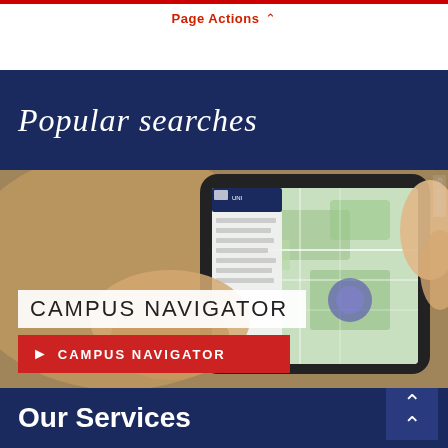Page Actions ∧
Popular searches
[Figure (photo): Hand holding a smartphone displaying a campus map application with a purple location marker. The screen shows a navigation app with the university logo at the top. Text overlay reads 'CAMPUS NAVIGATOR' with a red button below also labeled 'CAMPUS NAVIGATOR'. Watermark '© placit' on the right side.]
Our Services